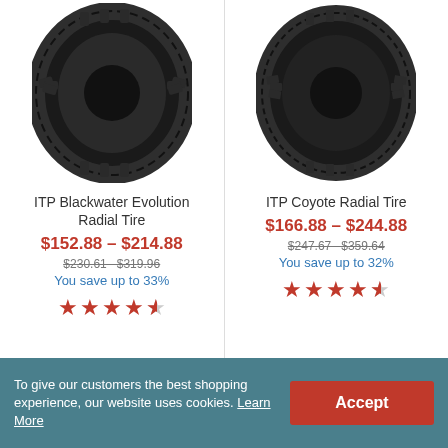[Figure (photo): ITP Blackwater Evolution Radial Tire product photo — black ATV tire with aggressive tread pattern]
ITP Blackwater Evolution Radial Tire
$152.88 – $214.88
$230.61  $319.96
You save up to 33%
[Figure (photo): ITP Coyote Radial Tire product photo — black ATV tire with directional tread pattern]
ITP Coyote Radial Tire
$166.88 – $244.88
$247.67  $359.64
You save up to 32%
To give our customers the best shopping experience, our website uses cookies. Learn More
Accept